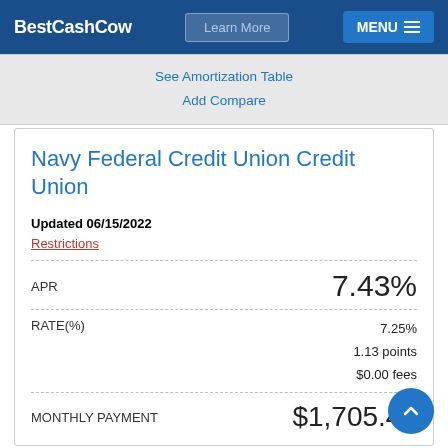BestCashCow  Learn More  MENU
See Amortization Table
Add Compare
Navy Federal Credit Union Credit Union
Updated 06/15/2022
Restrictions
| Field | Value |
| --- | --- |
| APR | 7.43% |
| RATE(%) | 7.25%
1.13 points
$0.00 fees |
| MONTHLY PAYMENT | $1,705.44 |